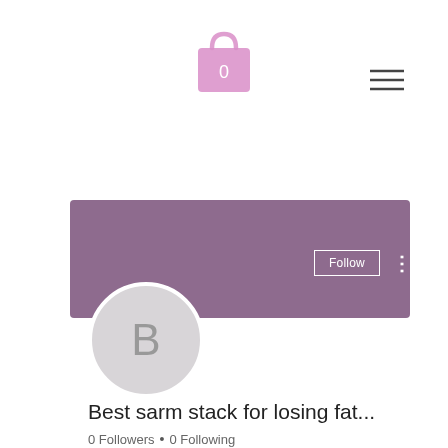[Figure (illustration): Pink shopping bag icon with number 0 on it, centered at top of page]
[Figure (illustration): Hamburger menu icon (three horizontal lines) at top right]
[Figure (illustration): Purple/mauve profile banner background rectangle]
[Figure (illustration): Follow button with white border on banner, and vertical three-dot menu icon]
[Figure (illustration): Gray circular avatar with letter B]
Best sarm stack for losing fat...
0 Followers • 0 Following